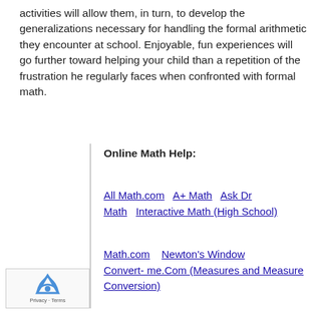activities will allow them, in turn, to develop the generalizations necessary for handling the formal arithmetic they encounter at school. Enjoyable, fun experiences will go further toward helping your child than a repetition of the frustration he regularly faces when confronted with formal math.
Online Math Help:
All Math.com   A+ Math   Ask Dr Math   Interactive Math (High School)
Math.com   Newton's Window   Convert- me.Com (Measures and Measure Conversion)